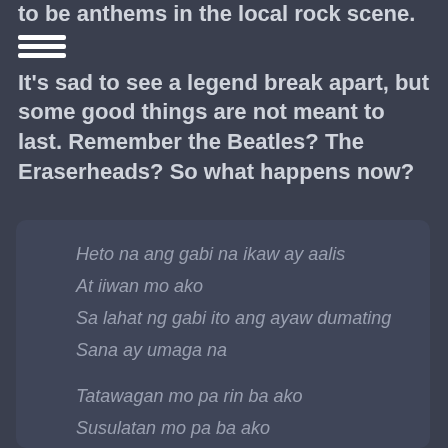to be anthems in the local rock scene.
It's sad to see a legend break apart, but some good things are not meant to last. Remember the Beatles? The Eraserheads? So what happens now?
Heto na ang gabi na ikaw ay aalis
At iiwan mo ako
Sa lahat ng gabi ito ang ayaw dumating
Sana ay umaga na

Tatawagan mo pa rin ba ako
Susulatan mo pa ba ako
Tayo na rin bang dalawa kahit
Tayo na rin bang dalawa kahit